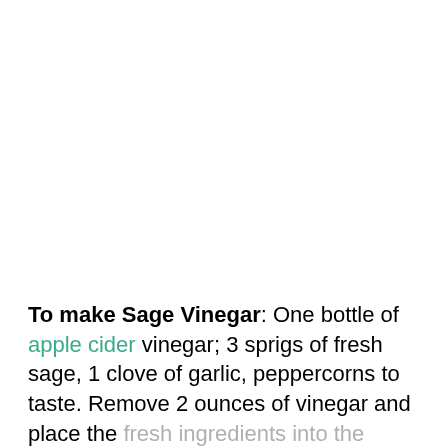To make Sage Vinegar: One bottle of apple cider vinegar; 3 sprigs of fresh sage, 1 clove of garlic, peppercorns to taste. Remove 2 ounces of vinegar and place the fresh ingredients into the bottle. Add back any vinegar that will fit. Cap tightly, shake